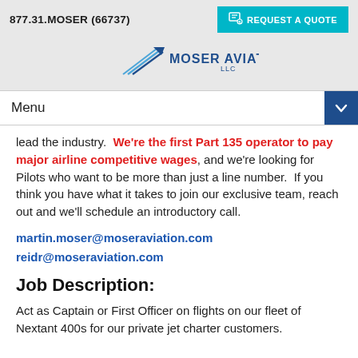877.31.MOSER (66737)  REQUEST A QUOTE
[Figure (logo): Moser Aviation LLC logo with blue stylized aircraft and navy/blue text]
Menu
lead the industry.  We're the first Part 135 operator to pay major airline competitive wages, and we're looking for Pilots who want to be more than just a line number.  If you think you have what it takes to join our exclusive team, reach out and we'll schedule an introductory call.
martin.moser@moseraviation.com
reidr@moseraviation.com
Job Description:
Act as Captain or First Officer on flights on our fleet of Nextant 400s for our private jet charter customers.